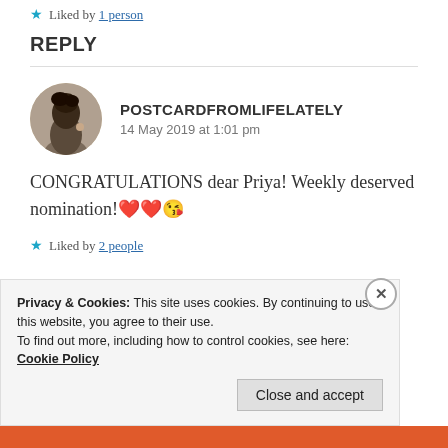Liked by 1 person
REPLY
POSTCARDFROMLIFELATELY
14 May 2019 at 1:01 pm
CONGRATULATIONS dear Priya! Weekly deserved nomination!❤❤😘
Liked by 2 people
Privacy & Cookies: This site uses cookies. By continuing to use this website, you agree to their use.
To find out more, including how to control cookies, see here: Cookie Policy
Close and accept